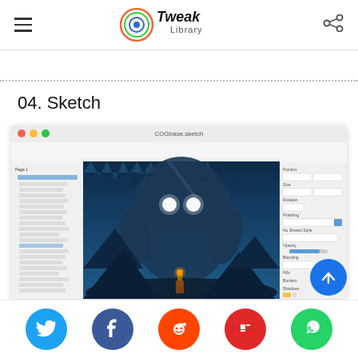Tweak Library
04. Sketch
[Figure (screenshot): Screenshot of Sketch design application on macOS showing a fantasy scene with a large creature with glowing eyes, a small character with a torch, layers panel on left, and inspector on right.]
Social share buttons: Twitter, Facebook, Reddit, Flipboard, WhatsApp